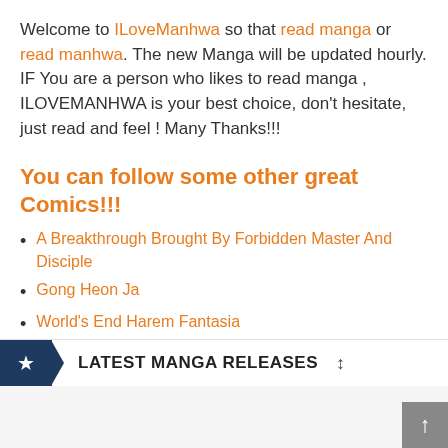Welcome to ILoveManhwa so that read manga or read manhwa. The new Manga will be updated hourly. IF You are a person who likes to read manga , ILOVEMANHWA is your best choice, don't hesitate, just read and feel ! Many Thanks!!!
You can follow some other great Comics!!!
A Breakthrough Brought By Forbidden Master And Disciple
Gong Heon Ja
World's End Harem Fantasia
Rokuhime Wa Kami Goe Ni Koi Ni Suru
LATEST MANGA RELEASES